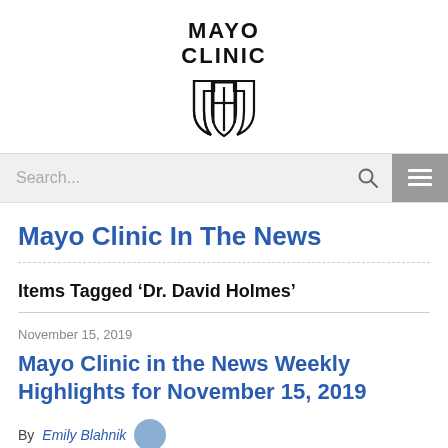[Figure (logo): Mayo Clinic logo with shield emblem and text MAYO CLINIC]
Search...
Mayo Clinic In The News
Items Tagged ‘Dr. David Holmes’
November 15, 2019
Mayo Clinic in the News Weekly Highlights for November 15, 2019
By Emily Blahnik